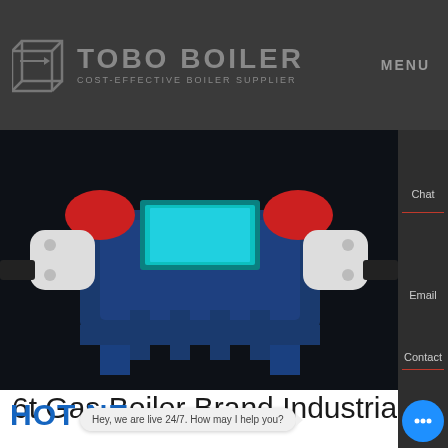TOBO BOILER — COST-EFFECTIVE BOILER SUPPLIER | MENU
[Figure (photo): Industrial gas boiler equipment, blue and white metal structure with red accents, shown against dark background]
6t Gas Boiler Brand Industrial
HOT NE
Hey, we are live 24/7. How may I help you?